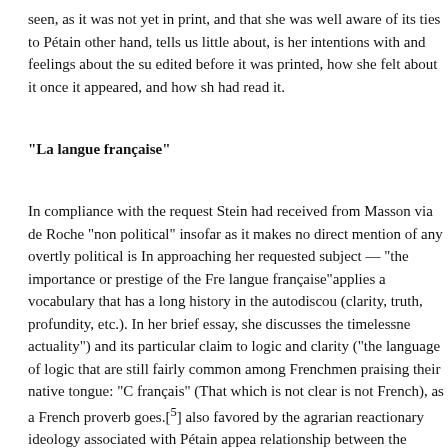seen, as it was not yet in print, and that she was well aware of its ties to Pétain other hand, tells us little about, is her intentions with and feelings about the su edited before it was printed, how she felt about it once it appeared, and how sh had read it.
“La langue française”
In compliance with the request Stein had received from Masson via de Roche “non political” insofar as it makes no direct mention of any overtly political is In approaching her requested subject — “the importance or prestige of the Fre langue française”applies a vocabulary that has a long history in the autodiscou (clarity, truth, profundity, etc.). In her brief essay, she discusses the timelessne actuality”) and its particular claim to logic and clarity (“the language of logic that are still fairly common among Frenchmen praising their native tongue: “C français” (That which is not clear is not French), as a French proverb goes.[5] also favored by the agrarian reactionary ideology associated with Pétain appea relationship between the language, the farmers, and the earth, and suggests a u farmers and the poets of France.